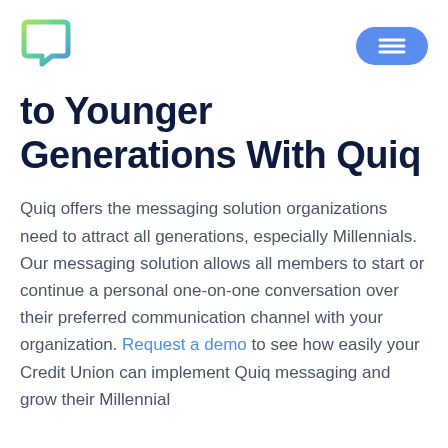[Figure (logo): Quiq logo: chat bubble icon with green-to-blue gradient]
to Younger Generations With Quiq
Quiq offers the messaging solution organizations need to attract all generations, especially Millennials. Our messaging solution allows all members to start or continue a personal one-on-one conversation over their preferred communication channel with your organization. Request a demo to see how easily your Credit Union can implement Quiq messaging and grow their Millennial